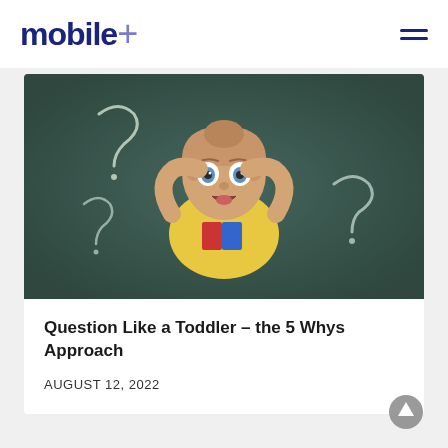mobile+
[Figure (photo): A toddler lying on a chalkboard background with chalk question marks drawn around them, hands behind head, looking up with wide eyes and an open mouth expression, wearing a yellow t-shirt]
Question Like a Toddler – the 5 Whys Approach
AUGUST 12, 2022